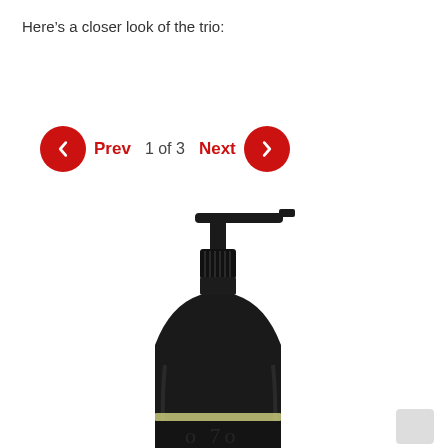Here’s a closer look of the trio:
[Figure (infographic): Navigation bar with red circular prev/next buttons, 'Prev' label in red, '1 of 3' in gray, 'Next' label in red, and arrow keys hint text below reading 'Use your ← → (arrow) keys to browse']
[Figure (photo): Dark/black pump dispenser bottle with a gold band near the bottom and partial text visible, shown from the top portion of the bottle]